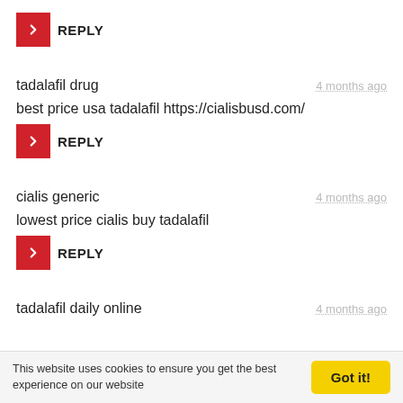REPLY
tadalafil drug — 4 months ago
best price usa tadalafil https://cialisbusd.com/
REPLY
cialis generic — 4 months ago
lowest price cialis buy tadalafil
REPLY
tadalafil daily online — 4 months ago
This website uses cookies to ensure you get the best experience on our website